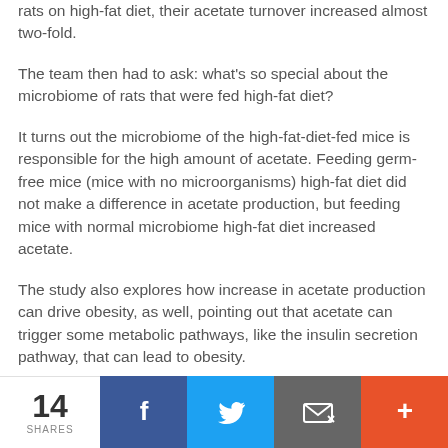rats on high-fat diet, their acetate turnover increased almost two-fold.
The team then had to ask: what's so special about the microbiome of rats that were fed high-fat diet?
It turns out the microbiome of the high-fat-diet-fed mice is responsible for the high amount of acetate. Feeding germ-free mice (mice with no microorganisms) high-fat diet did not make a difference in acetate production, but feeding mice with normal microbiome high-fat diet increased acetate.
The study also explores how increase in acetate production can drive obesity, as well, pointing out that acetate can trigger some metabolic pathways, like the insulin secretion pathway, that can lead to obesity.
14 SHARES | Facebook | Twitter | Email | +